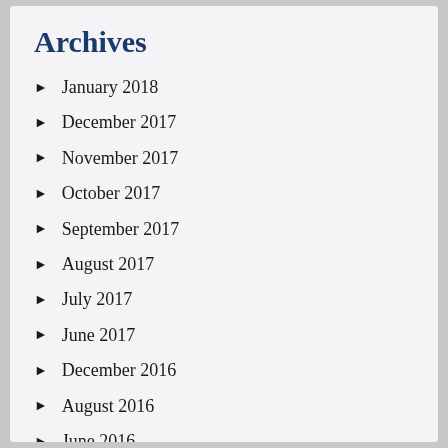Archives
January 2018
December 2017
November 2017
October 2017
September 2017
August 2017
July 2017
June 2017
December 2016
August 2016
June 2016